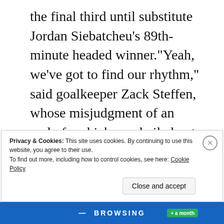the final third until substitute Jordan Siebatcheu's 89th-minute headed winner.“Yeah, we’ve got to find our rhythm,” said goalkeeper Zack Steffen, whose misjudgment of an early free kick was bailed out by a goal-line clearance from Josh Sargent. “It’s all about finding the pockets, finding the space on the field. And then we have to be smarter, we have to be more clever, we have to draw teams out and move the ball quicker. And we’ve got to play together and play as a team
Privacy & Cookies: This site uses cookies. By continuing to use this website, you agree to their use.
To find out more, including how to control cookies, see here: Cookie Policy
Close and accept
BROWSING